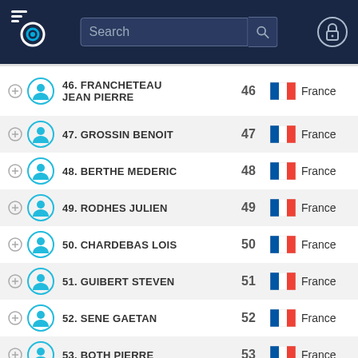[Figure (screenshot): App header with logo, search bar, and lock icon on dark navy background]
46. FRANCHETEAU JEAN PIERRE — 46 — France
47. GROSSIN BENOIT — 47 — France
48. BERTHE MEDERIC — 48 — France
49. RODHES JULIEN — 49 — France
50. CHARDEBAS LOIS — 50 — France
51. GUIBERT STEVEN — 51 — France
52. SENE GAETAN — 52 — France
53. BOTH PIERRE — 53 — France
54. PUDAL ERIC — 54 — France